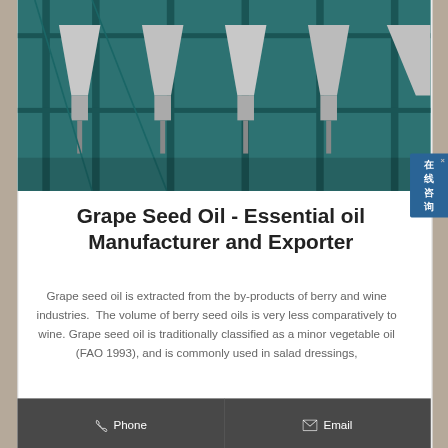[Figure (photo): Industrial oil extraction equipment - metal silos/hoppers with teal/green metal frame structure in a factory setting]
Grape Seed Oil - Essential oil Manufacturer and Exporter
Grape seed oil is extracted from the by-products of berry and wine industries. The volume of berry seed oils is very less comparatively to wine. Grape seed oil is traditionally classified as a minor vegetable oil (FAO 1993), and is commonly used in salad dressings,
Phone
Email
Whatsapp
Send Inquiry